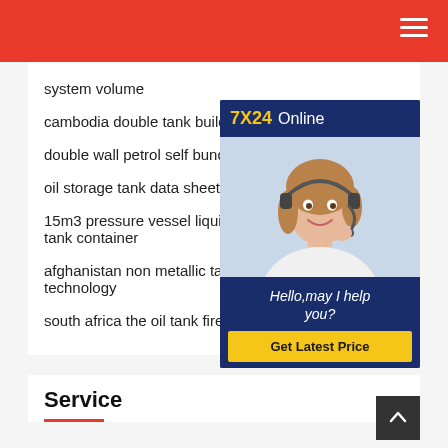system volume
cambodia double tank building vo...
double wall petrol self bunded fu...
oil storage tank data sheettank...
15m3 pressure vessel liquid oxyg... tank container
afghanistan non metallic tank ch... technology
south africa the oil tank fire tech...
[Figure (photo): Chat widget with woman wearing headset and text '7X24 Online', 'Hello,may I help you?', 'Get Latest Price' button]
Service